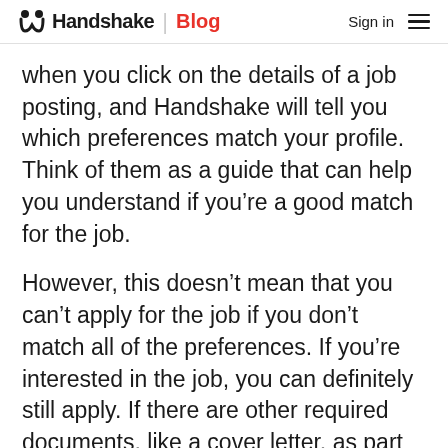Handshake Blog | Sign in
when you click on the details of a job posting, and Handshake will tell you which preferences match your profile. Think of them as a guide that can help you understand if you’re a good match for the job.
However, this doesn’t mean that you can’t apply for the job if you don’t match all of the preferences. If you’re interested in the job, you can definitely still apply. If there are other required documents, like a cover letter, as part of the application, that is